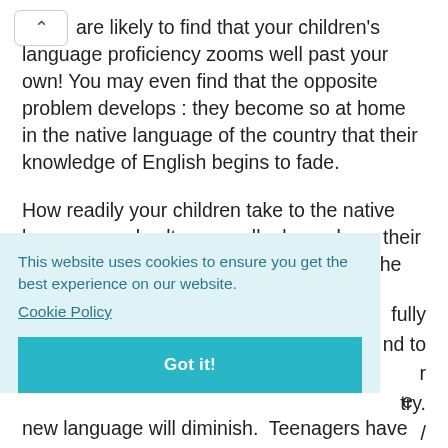are likely to find that your children's language proficiency zooms well past your own! You may even find that the opposite problem develops : they become so at home in the native language of the country that their knowledge of English begins to fade.
How readily your children take to the native language and culture usually depends on their age. Young children of 4-5 years pick up the [language fully] [and to] [their] [country.] [/]
[e] new language will diminish. Teenagers have